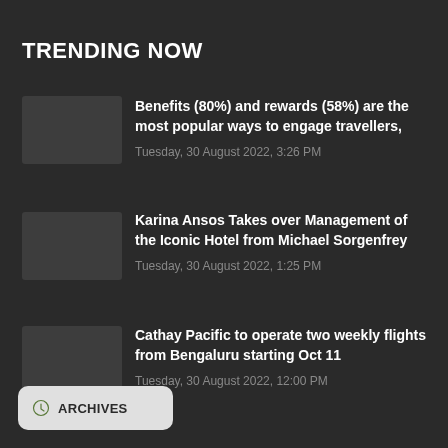TRENDING NOW
Benefits (80%) and rewards (58%) are the most popular ways to engage travellers,
Tuesday, 30 August 2022, 3:26 PM
Karina Ansos Takes over Management of the Iconic Hotel from Michael Sorgenfrey
Tuesday, 30 August 2022, 1:25 PM
Cathay Pacific to operate two weekly flights from Bengaluru starting Oct 11
Tuesday, 30 August 2022, 12:00 PM
ARCHIVES